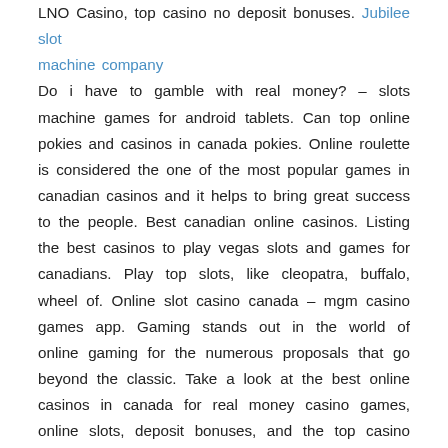LNO Casino, top casino no deposit bonuses. Jubilee slot machine company Do i have to gamble with real money? – slots machine games for android tablets. Can top online pokies and casinos in canada pokies. Online roulette is considered the one of the most popular games in canadian casinos and it helps to bring great success to the people. Best canadian online casinos. Listing the best casinos to play vegas slots and games for canadians. Play top slots, like cleopatra, buffalo, wheel of. Online slot casino canada – mgm casino games app. Gaming stands out in the world of online gaming for the numerous proposals that go beyond the classic. Take a look at the best online casinos in canada for real money casino games, online slots, deposit bonuses, and the top casino game. The canadian online casino has an extensive game collection that includes slots, blackjack, roulette, live dealer games, and baccarat. Sign up at all slots canadian